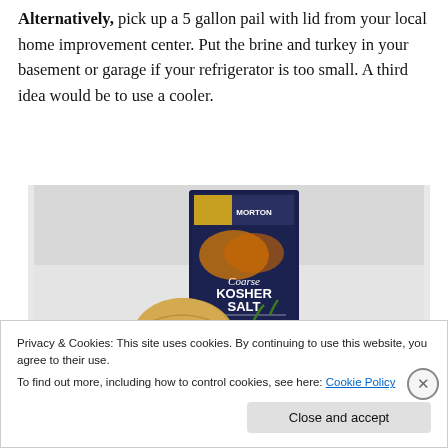Alternatively, pick up a 5 gallon pail with lid from your local home improvement center. Put the brine and turkey in your basement or garage if your refrigerator is too small. A third idea would be to use a cooler.
[Figure (photo): Photo of a box of Morton Kosher Salt with an onion and carrots in front, on a white background]
Privacy & Cookies: This site uses cookies. By continuing to use this website, you agree to their use.
To find out more, including how to control cookies, see here: Cookie Policy